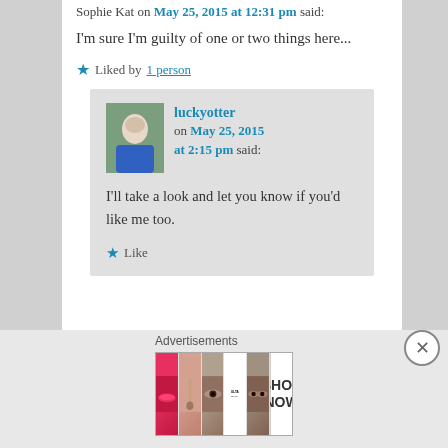Sophie Kat on May 25, 2015 at 12:31 pm said:
I'm sure I'm guilty of one or two things here...
★ Liked by 1 person
luckyotter on May 25, 2015 at 2:15 pm said:
I'll take a look and let you know if you'd like me too.
★ Like
Advertisements
[Figure (photo): Beauty advertisement banner showing makeup products including lips, brush, eye, ULTA logo, eye closeup, and SHOP NOW button]